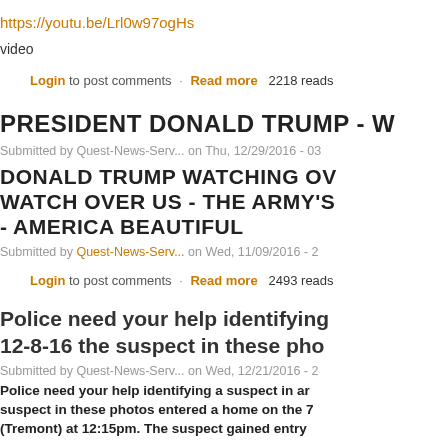https://youtu.be/Lrl0w97ogHs
video
Login to post comments · Read more 2218 reads
PRESIDENT DONALD TRUMP - W
Submitted by Quest-News-Serv... on Thu, 12/29/2016 - 03
DONALD TRUMP WATCHING OV WATCH OVER US - THE ARMY'S - AMERICA BEAUTIFUL
Submitted by Quest-News-Serv... on Wed, 11/09/2016 - 2
Login to post comments · Read more 2493 reads
Police need your help identifying 12-8-16 the suspect in these pho
Submitted by Quest-News-Serv... on Wed, 12/21/2016 - 2
Police need your help identifying a suspect in ar suspect in these photos entered a home on the 7 (Tremont) at 12:15pm. The suspect gained entry